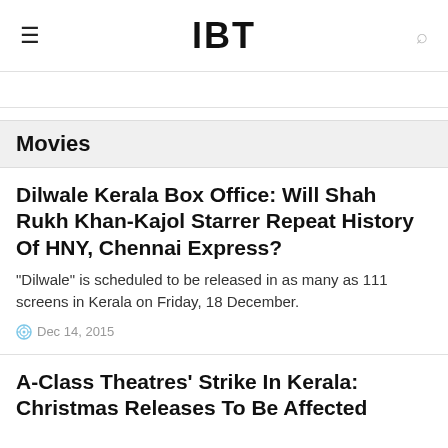IBT
Movies
Dilwale Kerala Box Office: Will Shah Rukh Khan-Kajol Starrer Repeat History Of HNY, Chennai Express?
"Dilwale" is scheduled to be released in as many as 111 screens in Kerala on Friday, 18 December.
Dec 14, 2015
A-Class Theatres' Strike In Kerala: Christmas Releases To Be Affected